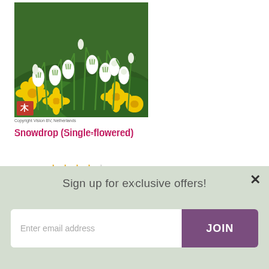[Figure (photo): Photograph of snowdrop flowers (white drooping blooms) and yellow winter aconite flowers against green foliage background. Logo watermark in bottom-left corner.]
Copyright Vision BV, Netherlands
Snowdrop (Single-flowered)
[Figure (other): Star rating: 4 out of 5 orange stars]
412 Reviews
Sign up for exclusive offers!
Enter email address
JOIN